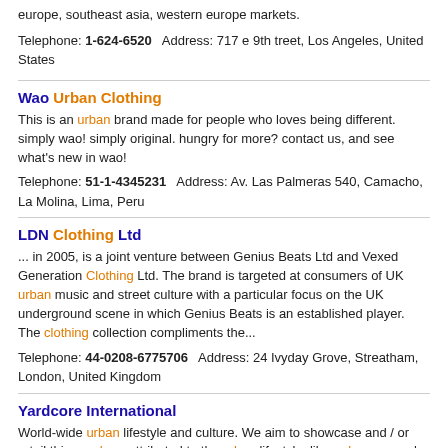europe, southeast asia, western europe markets.
Telephone: 1-624-6520  Address: 717 e 9th treet, Los Angeles, United States
Wao Urban Clothing
This is an urban brand made for people who loves being different. simply wao! simply original. hungry for more? contact us, and see what's new in wao!
Telephone: 51-1-4345231  Address: Av. Las Palmeras 540, Camacho, La Molina, Lima, Peru
LDN Clothing Ltd
... in 2005, is a joint venture between Genius Beats Ltd and Vexed Generation Clothing Ltd. The brand is targeted at consumers of UK urban music and street culture with a particular focus on the UK underground scene in which Genius Beats is an established player. The clothing collection compliments the...
Telephone: 44-0208-6775706  Address: 24 Ivyday Grove, Streatham, London, United Kingdom
Yardcore International
World-wide urban lifestyle and culture. We aim to showcase and / or retail things urban, attributed to the urban lifestyle; like: urban apparel, music, and gadgets.
Telephone: 1-800-348-0232  Address: Box 80924, Atlanta, Georgia